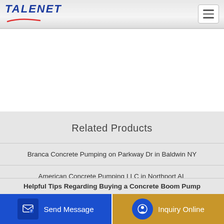TALENET
Related Products
Branca Concrete Pumping on Parkway Dr in Baldwin NY
American Concrete Pumping LLC in Northport AL
Coventry Concrete Plant Breedon Group
Helpful Tips Regarding Buying a Concrete Boom Pump
Send Message
Inquiry Online